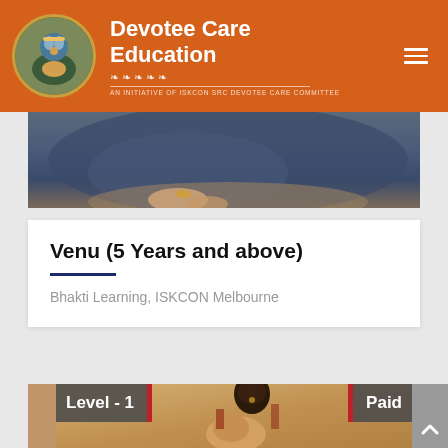Devotee Care Education
[Figure (screenshot): Website header with orange background, circular logo of Krishna deity figure on left, site title 'Devotee Care Education' in white bold text, decorative ornament divider, subtitle text, and hamburger menu icon on right]
[Figure (photo): Partial hero image showing a devotional/spiritual scene with dark blue-green fabric and golden details]
Venu (5 Years and above)
Bhakti Learning, ISKCON Melbourne
[Figure (photo): Religious painting showing a dark-complexioned deity figure playing flute standing above a devotee/saint figure, with 'Level - 1' badge on left and 'Paid' badge on right]